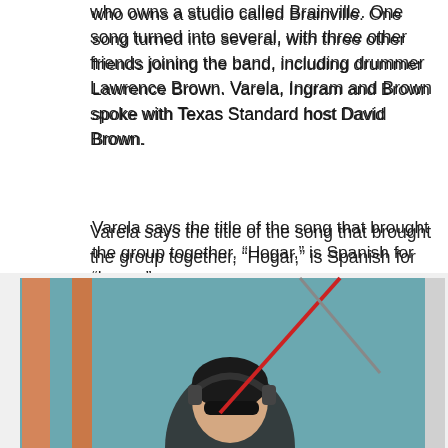who owns a studio called Brainville. One song turned into several, with three other friends joining the band, including drummer Lawrence Brown. Varela, Ingram and Brown spoke with Texas Standard host David Brown.
Varela says the title of the song that brought the group together, “Hogar,” is Spanish for “home.”
“It’s about when you find a home with someone; when you feel totally understood and you feel at home,” she said. “It was just a joyful song.”
[Figure (photo): Photo of a person wearing headphones and sunglasses, sitting in front of a teal/blue background with microphone stands and orange/red accents visible.]